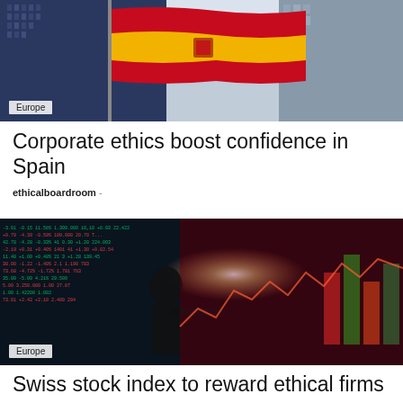[Figure (photo): Photo of Spanish flag waving in front of glass skyscrapers with blue sky]
Europe
Corporate ethics boost confidence in Spain
ethicalboardroom -
[Figure (photo): Photo of a person pointing at a stock market trading board with colorful financial data and charts overlaid]
Europe
Swiss stock index to reward ethical firms